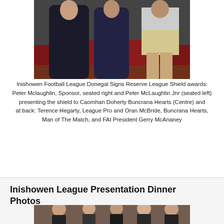[Figure (photo): Group photo showing people seated and standing, partial view cropped at top of page]
Inishowen Football League Donegal Signs Reserve League Shield awards:
Peter Mclaughlin, Sponsor, seated right and Peter McLaughlin Jnr (seated left) presenting the shield to Caomhan Doherty Buncrana Hearts (Centre) and
at back: Terence Hegarty, League Pro and Oran McBride, Buncrana Hearts, Man of The Match, and FAI President Gerry McAnaney
Inishowen League Presentation Dinner Photos
[Figure (photo): Group photo of men at a dinner event, partially visible at bottom of page]